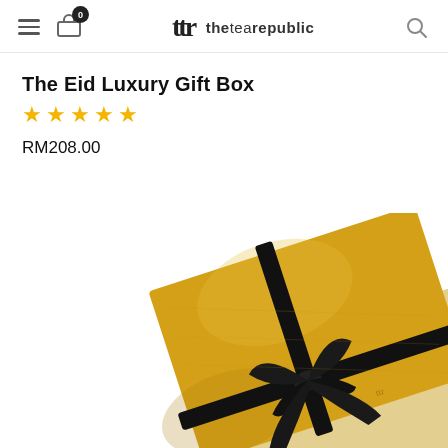ttr theteaRepublic — nav with hamburger, cart (0), logo, search
The Eid Luxury Gift Box
★★★★★
RM208.00
[Figure (photo): Gold gift box with black ribbon bow, photographed from above at an angle on a white background]